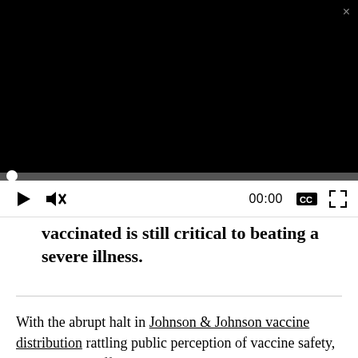[Figure (screenshot): Video player with black screen, progress bar at start, and controls showing play button, mute icon, 00:00 timestamp, CC button, and fullscreen button. A close (x) button appears at top right.]
vaccinated is still critical to beating a severe illness.
With the abrupt halt in Johnson & Johnson vaccine distribution rattling public perception of vaccine safety, White House officials